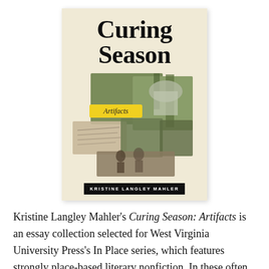[Figure (illustration): Book cover of 'Curing Season: Artifacts' by Kristine Langley Mahler. Cream/beige background with large bold black serif title text 'Curing Season' at top. Below the title is a collage of vintage photographs showing outdoor scenes, trees, a gazebo, and people. A yellow highlighted label reading 'Artifacts' in script overlays the collage. At the bottom is a black bar with the author name 'KRISTINE LANGLEY MAHLER' in white capital letters.]
Kristine Langley Mahler's Curing Season: Artifacts is an essay collection selected for West Virginia University Press's In Place series, which features strongly place-based literary nonfiction. In these often experimental